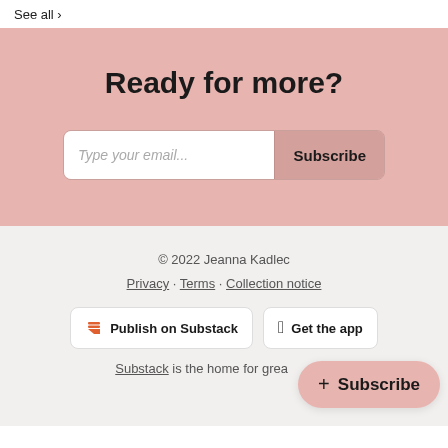See all >
Ready for more?
Type your email... Subscribe
© 2022 Jeanna Kadlec
Privacy · Terms · Collection notice
Publish on Substack
Get the app
Substack is the home for grea...
+ Subscribe